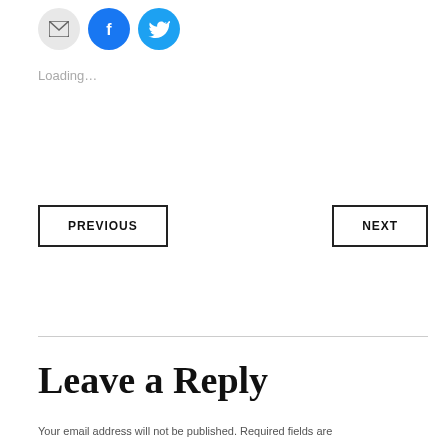[Figure (other): Social sharing icons: email (grey circle), Facebook (blue circle with f), Twitter (blue circle with bird)]
Loading...
PREVIOUS
NEXT
Leave a Reply
Your email address will not be published. Required fields are